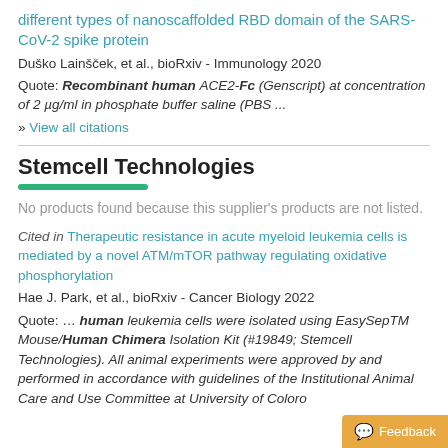different types of nanoscaffolded RBD domain of the SARS-CoV-2 spike protein
Duško Lainšček, et al., bioRxiv - Immunology 2020
Quote: Recombinant human ACE2-Fc (Genscript) at concentration of 2 µg/ml in phosphate buffer saline (PBS ...
» View all citations
Stemcell Technologies
No products found because this supplier's products are not listed.
Cited in Therapeutic resistance in acute myeloid leukemia cells is mediated by a novel ATM/mTOR pathway regulating oxidative phosphorylation
Hae J. Park, et al., bioRxiv - Cancer Biology 2022
Quote: … human leukemia cells were isolated using EasySepTM Mouse/Human Chimera Isolation Kit (#19849; Stemcell Technologies). All animal experiments were approved by and performed in accordance with guidelines of the Institutional Animal Care and Use Committee at University of Colorado